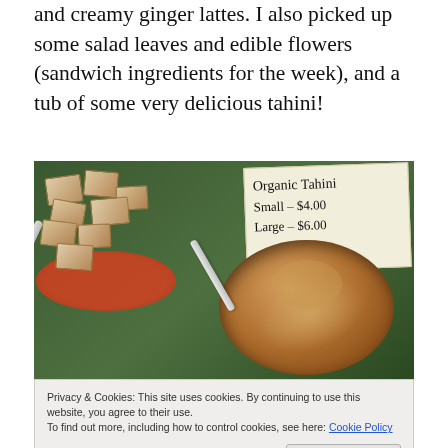and creamy ginger lattes. I also picked up some salad leaves and edible flowers (sandwich ingredients for the week), and a tub of some very delicious tahini!
[Figure (photo): Photo of a bowl of organic tahini with bread/tofu pieces at a market stall, with a handwritten sign reading 'Organic Tahini Small-$4.00 Large-$6.00']
Privacy & Cookies: This site uses cookies. By continuing to use this website, you agree to their use.
To find out more, including how to control cookies, see here: Cookie Policy
…Tahini. Back in 2007, this lovely couple introduced me to